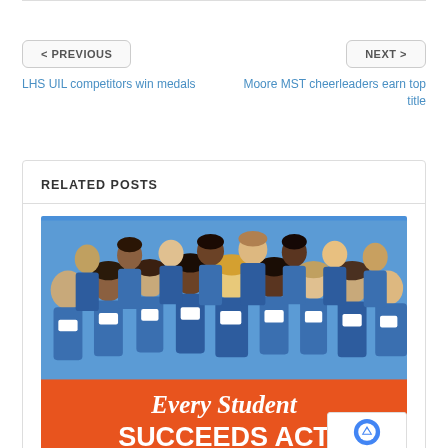< PREVIOUS
NEXT >
LHS UIL competitors win medals
Moore MST cheerleaders earn top title
RELATED POSTS
[Figure (illustration): Illustration of diverse students in blue uniforms grouped together, above an orange banner reading 'Every Student SUCCEEDS ACT']